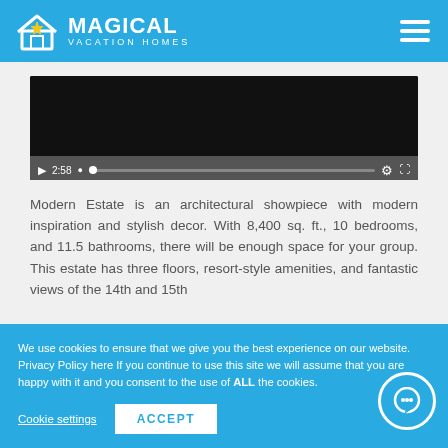MAGICAL VACATION HOMES
[Figure (screenshot): Embedded video player showing a dark screen with playback controls: play button, timestamp 2:58, progress bar, settings icon, and fullscreen icon on a dark gray control bar.]
Modern Estate is an architectural showpiece with modern inspiration and stylish decor. With 8,400 sq. ft., 10 bedrooms, and 11.5 bathrooms, there will be enough space for your group. This estate has three floors, resort-style amenities, and fantastic views of the 14th and 15th
We use cookies to ensure that we give you the best experience on our website. Privacy Policy here If you continue to use this site we will assume that you are happy with it and you consent to the use of ALL the cookies.
Cookie settings  ACCEPT